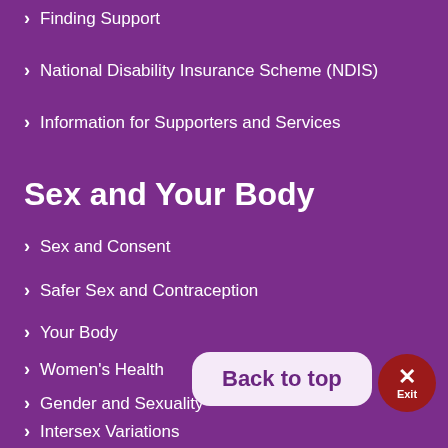Finding Support
National Disability Insurance Scheme (NDIS)
Information for Supporters and Services
Sex and Your Body
Sex and Consent
Safer Sex and Contraception
Your Body
Women's Health
Gender and Sexuality
Intersex Variations
Pregnancy and Choices